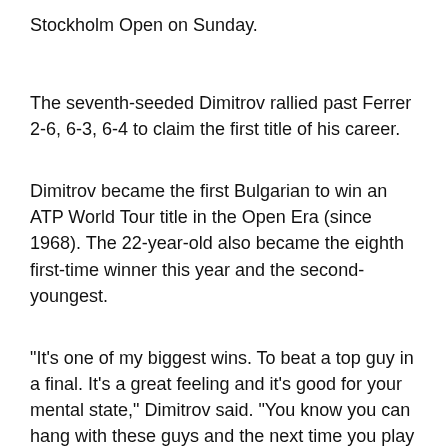Stockholm Open on Sunday.
The seventh-seeded Dimitrov rallied past Ferrer 2-6, 6-3, 6-4 to claim the first title of his career.
Dimitrov became the first Bulgarian to win an ATP World Tour title in the Open Era (since 1968). The 22-year-old also became the eighth first-time winner this year and the second-youngest.
"It's one of my biggest wins. To beat a top guy in a final. It's a great feeling and it's good for your mental state," Dimitrov said. "You know you can hang with these guys and the next time you play against them, especially in the Grand Slams, you will be better prepared.